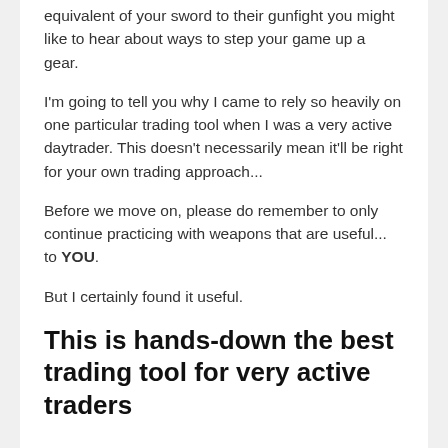equivalent of your sword to their gunfight you might like to hear about ways to step your game up a gear.
I'm going to tell you why I came to rely so heavily on one particular trading tool when I was a very active daytrader. This doesn't necessarily mean it'll be right for your own trading approach...
Before we move on, please do remember to only continue practicing with weapons that are useful... to YOU.
But I certainly found it useful.
This is hands-down the best trading tool for very active traders